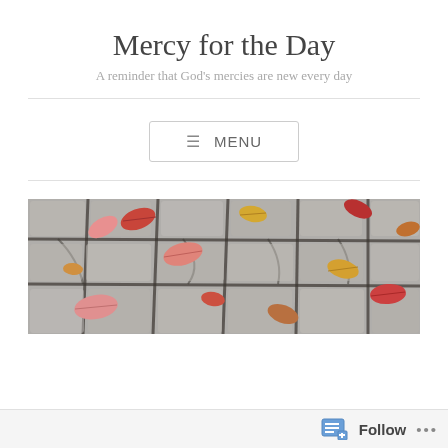Mercy for the Day
A reminder that God's mercies are new every day
≡ MENU
[Figure (photo): Close-up of cobblestone pavement with autumn leaves (red, yellow, pink, brown) scattered between the stones.]
Settling for Mediocrity
Follow ...